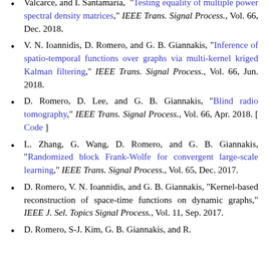Valcarce, and I. Santamaria, "Testing equality of multiple power spectral density matrices," IEEE Trans. Signal Process., Vol. 66, Dec. 2018.
V. N. Ioannidis, D. Romero, and G. B. Giannakis, "Inference of spatio-temporal functions over graphs via multi-kernel kriged Kalman filtering," IEEE Trans. Signal Process., Vol. 66, Jun. 2018.
D. Romero, D. Lee, and G. B. Giannakis, "Blind radio tomography," IEEE Trans. Signal Process., Vol. 66, Apr. 2018. [ Code ]
L. Zhang, G. Wang, D. Romero, and G. B. Giannakis, "Randomized block Frank-Wolfe for convergent large-scale learning," IEEE Trans. Signal Process., Vol. 65, Dec. 2017.
D. Romero, V. N. Ioannidis, and G. B. Giannakis, "Kernel-based reconstruction of space-time functions on dynamic graphs," IEEE J. Sel. Topics Signal Process., Vol. 11, Sep. 2017.
D. Romero, S-J. Kim, G. B. Giannakis, and R.